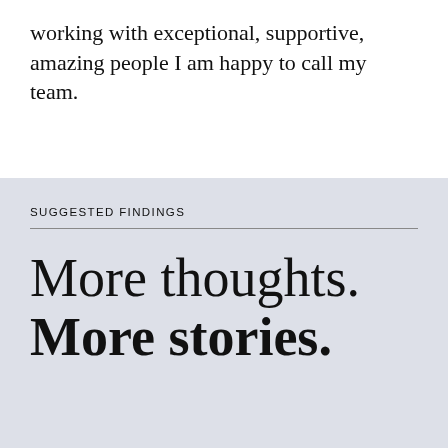working with exceptional, supportive, amazing people I am happy to call my team.
SUGGESTED FINDINGS
More thoughts. More stories.